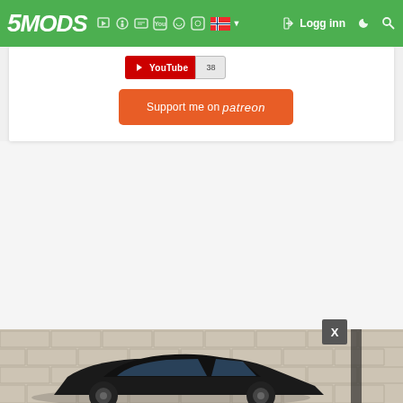5MODS — Logg inn
[Figure (screenshot): YouTube subscribe button showing count 38]
[Figure (screenshot): Support me on Patreon orange button]
[Figure (screenshot): Bottom portion showing a car mod screenshot with brick wall background and X close button]